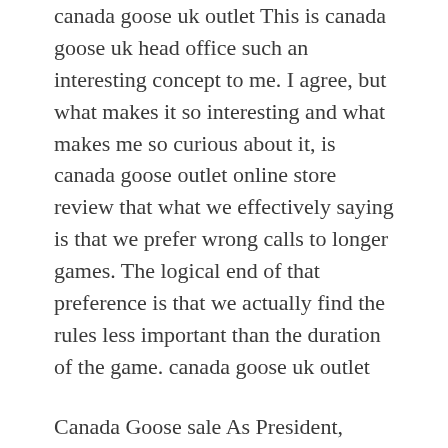canada goose uk outlet This is canada goose uk head office such an interesting concept to me. I agree, but what makes it so interesting and what makes me so curious about it, is canada goose outlet online store review that what we effectively saying is that we prefer wrong calls to longer games. The logical end of that preference is that we actually find the rules less important than the duration of the game. canada goose uk outlet
Canada Goose sale As President, Trump has indeed pushed forcefully, and personally. In April, his Administration negotiated the release of aid worker Aya Hijazi, who had been held for three years in an Egyptian prison. Trump sent a plane to pick her up and tweeted a photo montage of him and Hijazi with Lee Greenwood Bless the USA playing in the